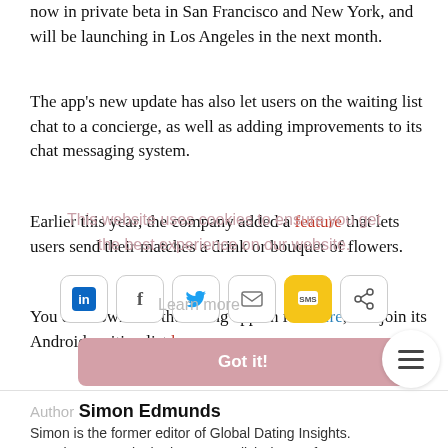The app currently has a waiting list of over 100,000 and is now in private beta in San Francisco and New York, and will be launching in Los Angeles in the next month.
The app's new update has also let users on the waiting list chat to a concierge, as well as adding improvements to its chat messaging system.
Earlier this year, the company added a feature that lets users send their matches a drink or bouquet of flowers.
You can download the dating app on iOS here, and join its Android waiting list here.
This website uses cookies to ensure you get the best experience on our website.
Learn more
[Figure (infographic): Social share buttons: LinkedIn, Facebook, Twitter, Email, SMS, Share]
Got it!
Author Simon Edmunds
Simon is the former editor of Global Dating Insights. Born in Newcastle, he has an English degree from